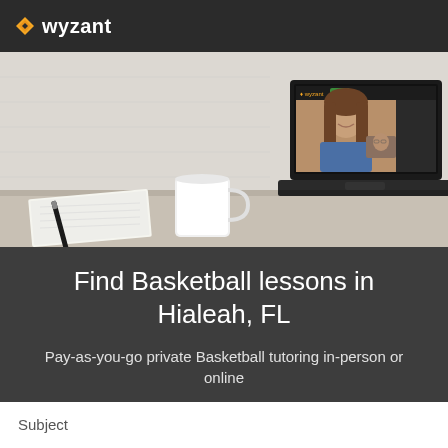wyzant
[Figure (photo): Laptop on a desk showing a video tutoring session with two women, alongside a notebook, pen, and white mug on a light background]
Find Basketball lessons in Hialeah, FL
Pay-as-you-go private Basketball tutoring in-person or online
Subject